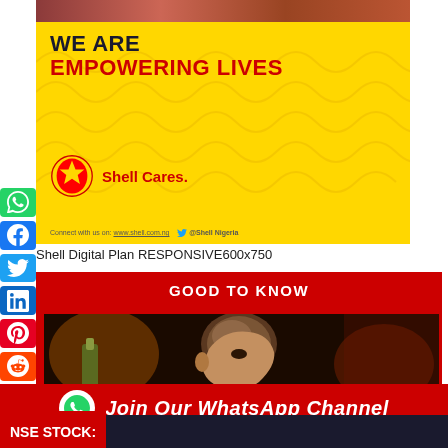[Figure (photo): Shell 'We Are Empowering Lives / Shell Cares' advertisement banner on yellow background with shell logo]
Shell Digital Plan RESPONSIVE600x750
GOOD TO KNOW
[Figure (photo): Close-up photo of a young man with shaved head looking upward, dark background with orange/amber lighting]
[Figure (infographic): Red banner with WhatsApp icon and text: Join Our WhatsApp Channel]
NSE STOCK: